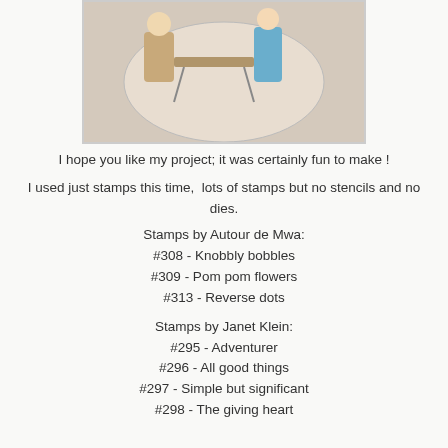[Figure (photo): Partial view of a decorated craft/art piece with illustrated characters, partially cropped at top]
I hope you like my project; it was certainly fun to make !
I used just stamps this time,  lots of stamps but no stencils and no dies.
Stamps by Autour de Mwa:
#308 - Knobbly bobbles
#309 - Pom pom flowers
#313 - Reverse dots
Stamps by Janet Klein:
#295 - Adventurer
#296 - All good things
#297 - Simple but significant
#298 - The giving heart